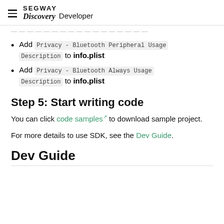SEGWAY Discovery Developer
…
Add Privacy - Bluetooth Peripheral Usage Description to info.plist
Add Privacy - Bluetooth Always Usage Description to info.plist
Step 5: Start writing code
You can click code samples to download sample project.
For more details to use SDK, see the Dev Guide.
Dev Guide